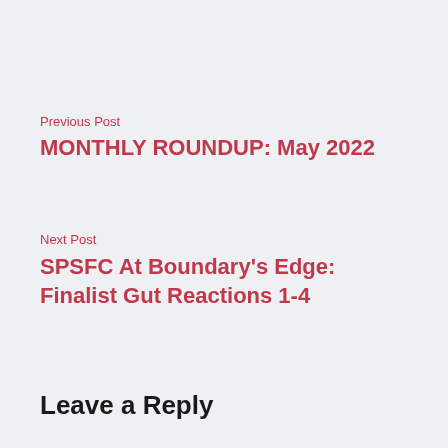Previous Post
MONTHLY ROUNDUP: May 2022
Next Post
SPSFC At Boundary's Edge: Finalist Gut Reactions 1-4
Leave a Reply